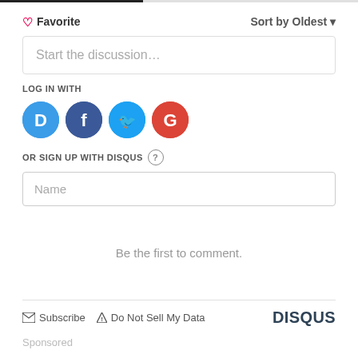[Figure (screenshot): Disqus comment section UI with Favorite button, Sort by Oldest, Start the discussion input, Log in with social icons (Disqus, Facebook, Twitter, Google), OR SIGN UP WITH DISQUS, Name field, Be the first to comment message, Subscribe and Do Not Sell My Data links, and DISQUS logo]
Favorite
Sort by Oldest
Start the discussion…
LOG IN WITH
OR SIGN UP WITH DISQUS
Name
Be the first to comment.
Subscribe  Do Not Sell My Data
DISQUS
Sponsored